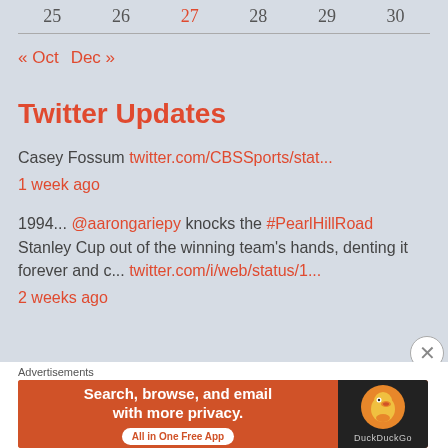| 25 | 26 | 27 | 28 | 29 | 30 |
| --- | --- | --- | --- | --- | --- |
« Oct   Dec »
Twitter Updates
Casey Fossum twitter.com/CBSSports/stat... 1 week ago
1994... @aarongariepy knocks the #PearlHillRoad Stanley Cup out of the winning team's hands, denting it forever and c... twitter.com/i/web/status/1... 2 weeks ago
Advertisements
[Figure (other): DuckDuckGo advertisement banner: Search, browse, and email with more privacy. All in One Free App]